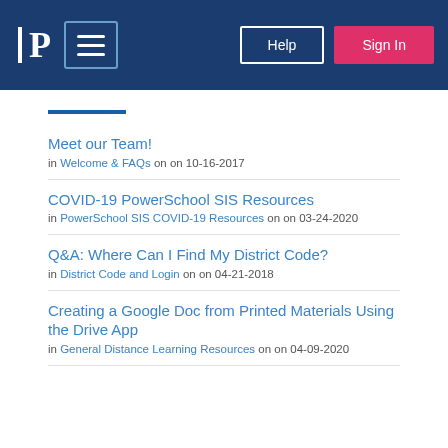[Figure (screenshot): Navigation header bar with PowerSchool logo (P), hamburger menu, Help button, and Sign In button on dark blue background]
Meet our Team! in Welcome & FAQs on on 10-16-2017
COVID-19 PowerSchool SIS Resources in PowerSchool SIS COVID-19 Resources on on 03-24-2020
Q&A: Where Can I Find My District Code? in District Code and Login on on 04-21-2018
Creating a Google Doc from Printed Materials Using the Drive App in General Distance Learning Resources on on 04-09-2020